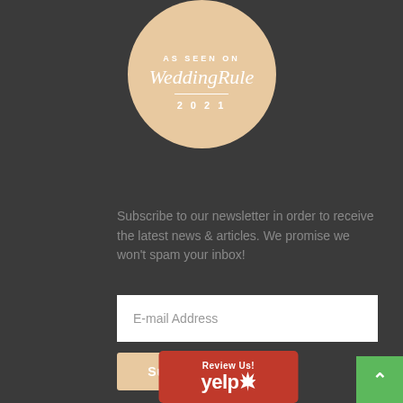[Figure (logo): WeddingRule 'As Seen On 2021' circular badge with beige/tan background and white text]
Subscribe to our newsletter in order to receive the latest news & articles. We promise we won't spam your inbox!
[Figure (other): Email address input field with placeholder text 'E-mail Address']
[Figure (other): Subscribe button in beige/tan color]
[Figure (logo): Yelp 'Review Us!' badge with red background and white Yelp logo]
[Figure (other): Green scroll-to-top arrow button in bottom right corner]